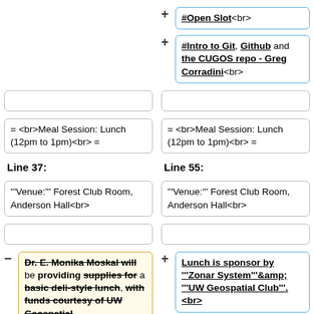+ #Open Slot<br>
+ #Intro to Git, Github and the CUGOS repo - Greg Corradini<br>
= <br>Meal Session: Lunch (12pm to 1pm)<br> =
= <br>Meal Session: Lunch (12pm to 1pm)<br> =
Line 37:
Line 55:
'''Venue:''' Forest Club Room, Anderson Hall<br>
'''Venue:''' Forest Club Room, Anderson Hall<br>
- Dr. E. Monika Moskal will be providing supplies for a basic deli-style lunch, with funds courtesy of UW Geospatial
+ Lunch is sponsor by '''Zonar System'''&amp; '''UW Geospatial Club'''. <br>